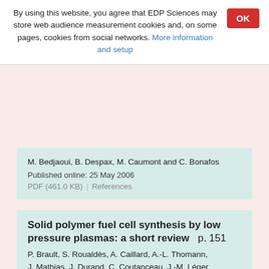By using this website, you agree that EDP Sciences may store web audience measurement cookies and, on some pages, cookies from social networks. More information and setup
M. Bedjaoui, B. Despax, M. Caumont and C. Bonafos
Published online: 25 May 2006
PDF (461.0 KB)   References
Solid polymer fuel cell synthesis by low pressure plasmas: a short review   p. 151
P. Brault, S. Roualdès, A. Caillard, A.-L. Thomann, J. Mathias, J. Durand, C. Coutanceau, J.-M. Léger, C. Charles and R. Boswell
Published online: 04 May 2006
PDF (746.4 KB)   References
Characterization of carbon nanotubes and carbon